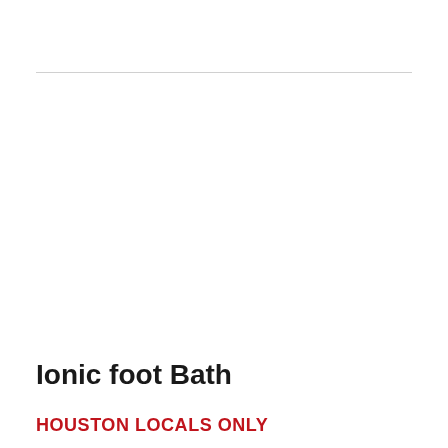Ionic foot Bath
HOUSTON LOCALS ONLY